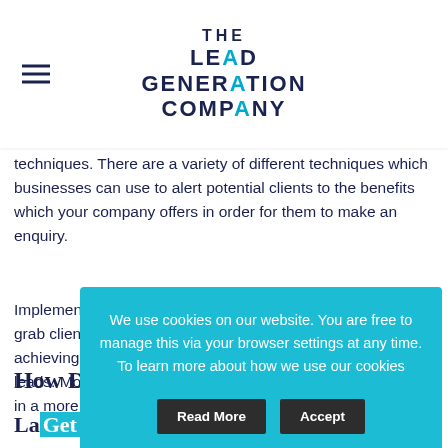THE LEAD GENERATION COMPANY
techniques. There are a variety of different techniques which businesses can use to alert potential clients to the benefits which your company offers in order for them to make an enquiry.
Implementing ... grab clients ... achieving s... leads. Mor... in a more p...
How D...
La... Get a Q...
We use cookies on our website. You are free to manage this via your browser settings at any time. To learn more about how we use our cookies
Read More | Accept